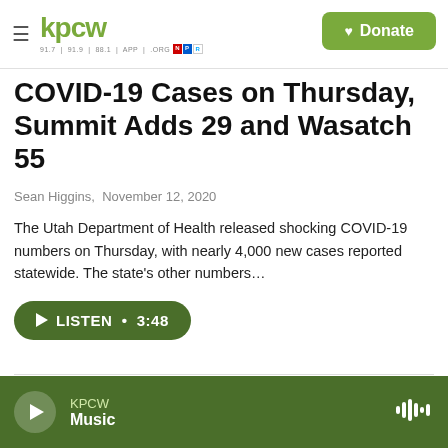kpcw | 91.7 | 91.9 | 88.1 | APP | .ORG | NPR | Donate
COVID-19 Cases on Thursday, Summit Adds 29 and Wasatch 55
Sean Higgins, November 12, 2020
The Utah Department of Health released shocking COVID-19 numbers on Thursday, with nearly 4,000 new cases reported statewide. The state's other numbers…
[Figure (other): Listen button with play icon, duration 3:48]
[Figure (photo): Partial photo of coronavirus/COVID-19 imagery on dark background]
KPCW Music - audio player bar